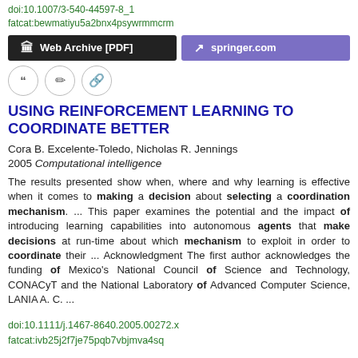doi:10.1007/3-540-44597-8_1
fatcat:bewmatiyu5a2bnx4psywrmmcrm
[Figure (other): Two buttons: 'Web Archive [PDF]' (dark/black background) and 'springer.com' (purple background), and three circular action icons (quote, edit, link)]
USING REINFORCEMENT LEARNING TO COORDINATE BETTER
Cora B. Excelente-Toledo, Nicholas R. Jennings
2005 Computational intelligence
The results presented show when, where and why learning is effective when it comes to making a decision about selecting a coordination mechanism.  ...  This paper examines the potential and the impact of introducing learning capabilities into autonomous agents that make decisions at run-time about which mechanism to exploit in order to coordinate their  ...  Acknowledgment The first author acknowledges the funding of Mexico's National Council of Science and Technology, CONACyT and the National Laboratory of Advanced Computer Science, LANIA A. C.  ...
doi:10.1111/j.1467-8640.2005.00272.x
fatcat:ivb25j2f7je75pqb7vbjmva4sq